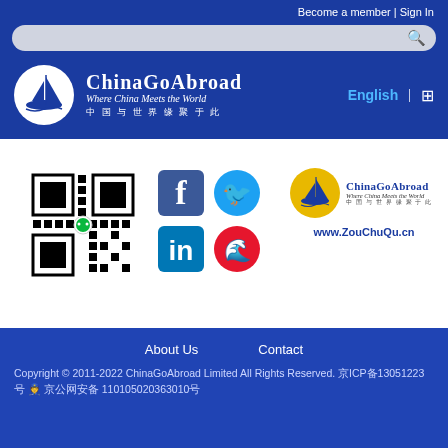Become a member | Sign In
[Figure (screenshot): Search bar with magnifying glass icon on blue background]
[Figure (logo): ChinaGoAbroad logo: white circle with sailing ship, text 'ChinaGoAbroad Where China Meets the World 中国与世界缘聚于此'. Language switcher: English | [icon]]
[Figure (other): QR code for WeChat]
[Figure (logo): Social media icons: Facebook, Twitter, LinkedIn, Weibo]
[Figure (logo): ChinaGoAbroad logo with tagline and URL www.ZouChuQu.cn]
About Us    Contact
Copyright © 2011-2022 ChinaGoAbroad Limited All Rights Reserved. 京ICP备13051223号 🚔 京公网安备 110105020363010号